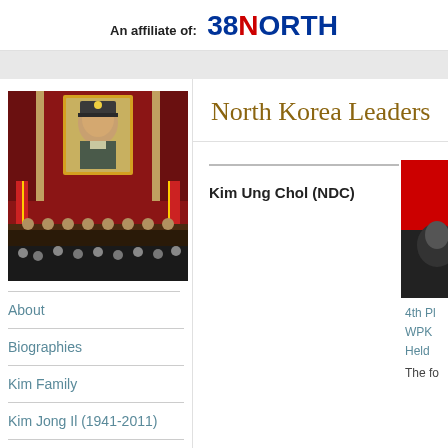An affiliate of: 38 NORTH
North Korea Leaders
[Figure (photo): Photo of a North Korean political meeting hall with a large portrait of Kim Jong Il on the red-draped wall, delegates seated at a table below, red flags on either side]
About
Biographies
Kim Family
Kim Jong Il (1941-2011)
Kim Jong Un
Kim Ung Chol (NDC)
[Figure (photo): Partial photo of a North Korean official in dark clothing against a red background]
4th Pl WPK Held
The fo